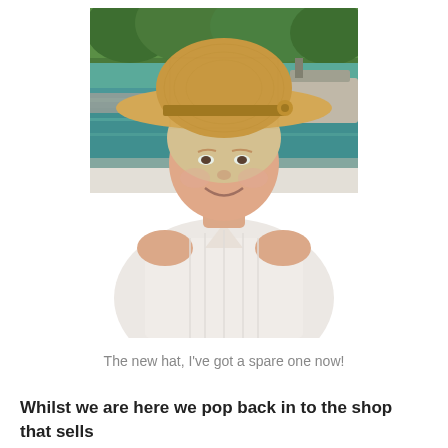[Figure (photo): A woman wearing a wide-brimmed straw sun hat smiling at the camera. She is wearing a white sleeveless top. In the background there is green water and trees, suggesting a riverside or canal setting with boats visible.]
The new hat, I've got a spare one now!
Whilst we are here we pop back in to the shop that sells